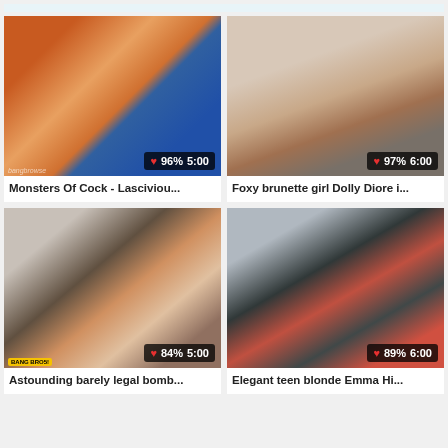[Figure (screenshot): Video thumbnail grid - top strip partially visible]
[Figure (screenshot): Video thumbnail: Monsters Of Cock scene, 96% rating, 5:00 duration]
Monsters Of Cock - Lasciviou...
[Figure (screenshot): Video thumbnail: Foxy brunette girl Dolly Diore, 97% rating, 6:00 duration]
Foxy brunette girl Dolly Diore i...
[Figure (screenshot): Video thumbnail: Astounding barely legal bomb, 84% rating, 5:00 duration]
Astounding barely legal bomb...
[Figure (screenshot): Video thumbnail: Elegant teen blonde Emma Hi, 89% rating, 6:00 duration]
Elegant teen blonde Emma Hi...